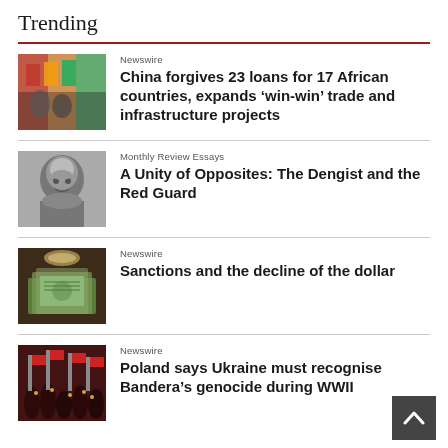Trending
[Figure (photo): Group of people at a formal event with colorful flags in the background]
Newswire
China forgives 23 loans for 17 African countries, expands ‘win-win’ trade and infrastructure projects
[Figure (photo): Black and white portrait of Mao Zedong]
Monthly Review Essays
A Unity of Opposites: The Dengist and the Red Guard
[Figure (photo): Close-up of bundled US dollar banknotes]
Newswire
Sanctions and the decline of the dollar
[Figure (photo): Crowd scene with red flags and candles at night]
Newswire
Poland says Ukraine must recognise Bandera’s genocide during WWII